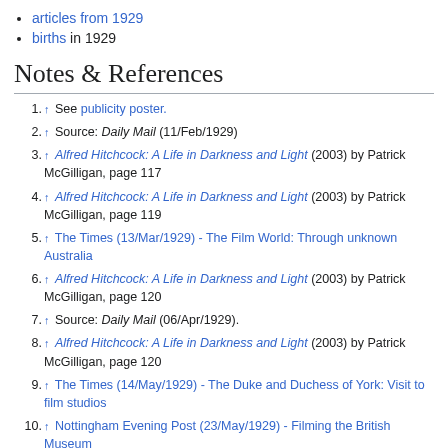articles from 1929
births in 1929
Notes & References
1. ↑ See publicity poster.
2. ↑ Source: Daily Mail (11/Feb/1929)
3. ↑ Alfred Hitchcock: A Life in Darkness and Light (2003) by Patrick McGilligan, page 117
4. ↑ Alfred Hitchcock: A Life in Darkness and Light (2003) by Patrick McGilligan, page 119
5. ↑ The Times (13/Mar/1929) - The Film World: Through unknown Australia
6. ↑ Alfred Hitchcock: A Life in Darkness and Light (2003) by Patrick McGilligan, page 120
7. ↑ Source: Daily Mail (06/Apr/1929).
8. ↑ Alfred Hitchcock: A Life in Darkness and Light (2003) by Patrick McGilligan, page 120
9. ↑ The Times (14/May/1929) - The Duke and Duchess of York: Visit to film studios
10. ↑ Nottingham Evening Post (23/May/1929) - Filming the British Museum
11. ↑ Alfred Hitchcock: A Life in Darkness and Light (2003) by Patrick McGilligan, page 125